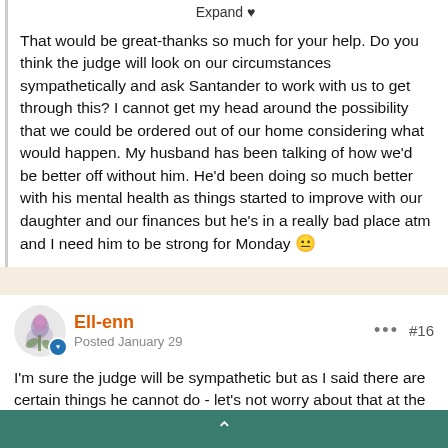Expand ♥
That would be great-thanks so much for your help. Do you think the judge will look on our circumstances sympathetically and ask Santander to work with us to get through this? I cannot get my head around the possibility that we could be ordered out of our home considering what would happen. My husband has been talking of how we'd be better off without him. He'd been doing so much better with his mental health as things started to improve with our daughter and our finances but he's in a really bad place atm and I need him to be strong for Monday 😐
Ell-enn
Posted January 29
#16
I'm sure the judge will be sympathetic but as I said there are certain things he cannot do - let's not worry about that at the moment.   If the judge awards a suspended possession order on Monday the conditions of the order could be that a period of time ( perhaps 28 days) is ordered for